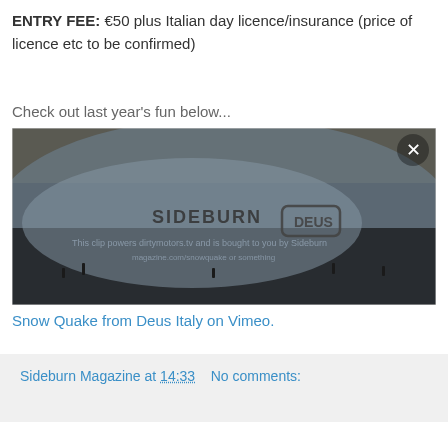ENTRY FEE: €50 plus Italian day licence/insurance (price of licence etc to be confirmed)
Check out last year's fun below...
[Figure (screenshot): Video thumbnail showing aerial/overhead view of snow motorcycling event with SIDEBURN and DEUS logos overlaid, with a close button (X) in top right corner]
Snow Quake from Deus Italy on Vimeo.
Sideburn Magazine at 14:33   No comments: